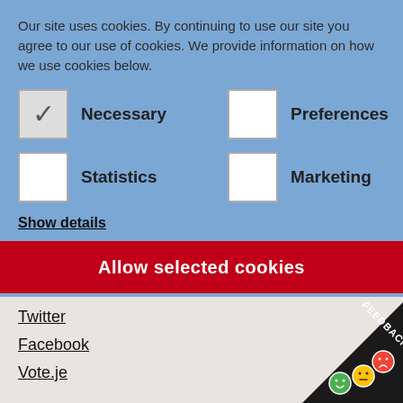Our site uses cookies. By continuing to use our site you agree to our use of cookies. We provide information on how we use cookies below.
Necessary (checked), Preferences (unchecked), Statistics (unchecked), Marketing (unchecked)
Show details
Allow selected cookies
Twitter
Facebook
Vote.je
Petitions
[Figure (other): Feedback badge with smiley face emoji icons and text FEEDBACK on a diagonal dark banner in the bottom right corner]